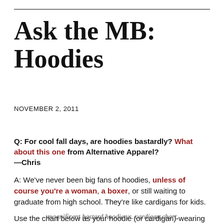Ask the MB: Hoodies
NOVEMBER 2, 2011
Q: For cool fall days, are hoodies bastardly? What about this one from Alternative Apparel?
—Chris
A: We've never been big fans of hoodies, unless of course you're a woman, a boxer, or still waiting to graduate from high school. They're like cardigans for kids.
Use the chart below as your hoodie (or cardigan)-wearing guide.
magnificent bastard hoodie vs. cardigan chart